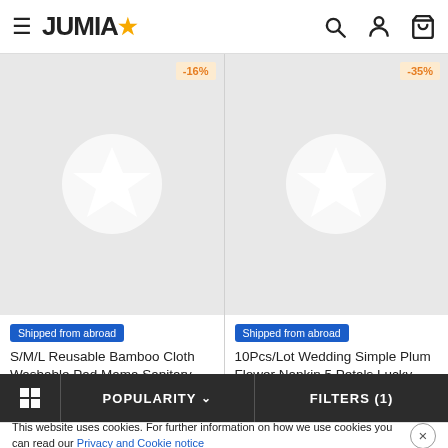JUMIA
[Figure (screenshot): Product card 1: placeholder image with star icon, -16% discount badge, 'Shipped from abroad' label, title 'S/M/L Reusable Bamboo Cloth Washable Pad Mama Sanitary']
[Figure (screenshot): Product card 2: placeholder image with star icon, -35% discount badge, 'Shipped from abroad' label, title '10Pcs/Lot Wedding Simple Plum Flower Napkin 5 Petals Lucky']
POPULARITY   FILTERS (1)
This website uses cookies. For further information on how we use cookies you can read our Privacy and Cookie notice